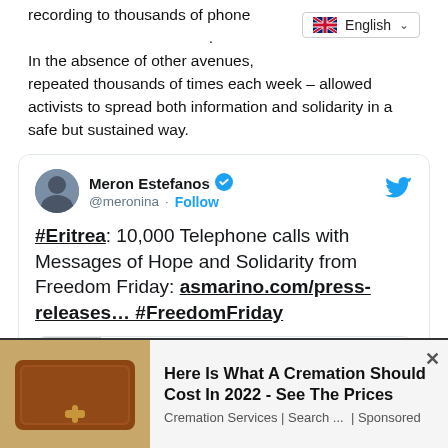recording to thousands of phone ... In the absence of other avenues ... repeated thousands of times each week – allowed activists to spread both information and solidarity in a safe but sustained way.
[Figure (screenshot): Tweet by Meron Estefanos (@meronina) with verified badge and Follow link. Tweet text: #Eritrea: 10,000 Telephone calls with Messages of Hope and Solidarity from Freedom Friday: asmarino.com/press-releases... #FreedomFriday. Link card showing asmarino.com preview.]
[Figure (infographic): Advertisement banner: coffin image on left, text 'Here Is What A Cremation Should Cost In 2022 - See The Prices', subtext 'Cremation Services | Search ... | Sponsored', with close X button.]